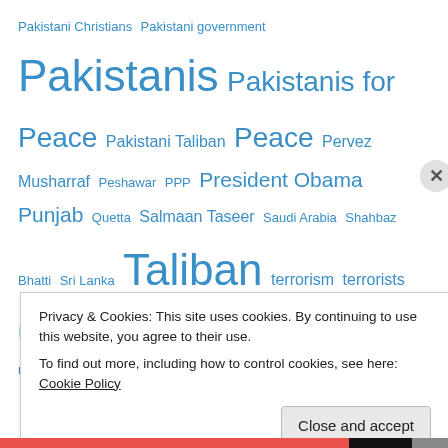Pakistani Christians Pakistani government Pakistanis Pakistanis for Peace Pakistani Taliban Peace Pervez Musharraf Peshawar PPP President Obama Punjab Quetta Salmaan Taseer Saudi Arabia Shahbaz Bhatti Sri Lanka Taliban terrorism terrorists United Nations United States US-Pakistani relations USA War Washington Yousuf Raza Gilani
Advertisements
[Figure (illustration): Blue banner advertisement with icons of a document, a person with a turban, and a server/database on a light blue background with sparkle stars]
Privacy & Cookies: This site uses cookies. By continuing to use this website, you agree to their use.
To find out more, including how to control cookies, see here: Cookie Policy
Close and accept